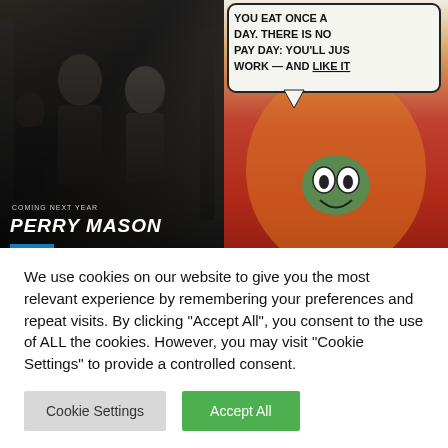[Figure (screenshot): Perry Mason Season 2 show thumbnail. Dark background with men in suits. Text overlay reads 'COMING NEXT YEAR', 'PERRY MASON', 'COMIC NEW SEASON'.]
[Figure (screenshot): Comic book image with speech bubble reading 'YOU EAT ONCE A DAY. THERE IS NO PAY DAY: YOU'LL JUST WORK — AND LIKE IT'. Below is a red creature/monster with green face.]
Perry Mason Season 2
New-New York and the
We use cookies on our website to give you the most relevant experience by remembering your preferences and repeat visits. By clicking “Accept All”, you consent to the use of ALL the cookies. However, you may visit "Cookie Settings" to provide a controlled consent.
Cookie Settings
Accept All